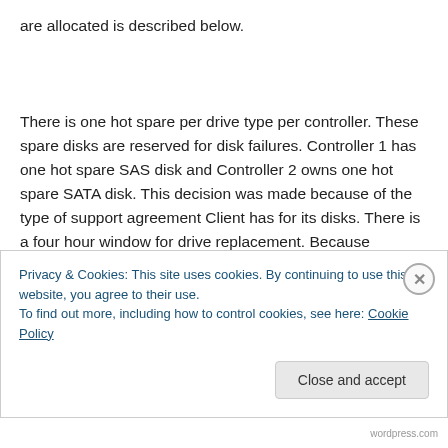are allocated is described below.
There is one hot spare per drive type per controller. These spare disks are reserved for disk failures. Controller 1 has one hot spare SAS disk and Controller 2 owns one hot spare SATA disk. This decision was made because of the type of support agreement Client has for its disks. There is a four hour window for drive replacement. Because
Privacy & Cookies: This site uses cookies. By continuing to use this website, you agree to their use.
To find out more, including how to control cookies, see here: Cookie Policy